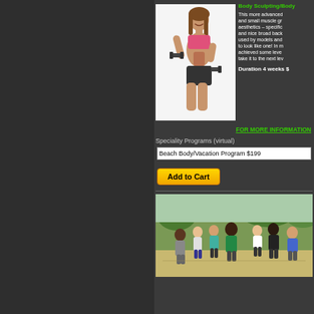Body Sculpting/Body...
This more advanced and small muscle gr... aesthetics – specific... and nice broad back... used by models and... to look like one! In m... achieved some leve... take it to the next lev...
Duration 4 weeks $...
FOR MORE INFORMATION...
Speciality Programs (virtual)
| Beach Body/Vacation Program $199... |
[Figure (photo): Fitness woman in pink sports bra doing bicep curl with dumbbells, white background]
[Figure (photo): Group of people walking/jogging outdoors on a path, outdoor fitness group]